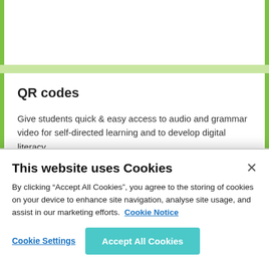QR codes
Give students quick & easy access to audio and grammar video for self-directed learning and to develop digital literacy.
View Digital Tools
This website uses Cookies
By clicking “Accept All Cookies”, you agree to the storing of cookies on your device to enhance site navigation, analyse site usage, and assist in our marketing efforts. Cookie Notice
Cookie Settings
Accept All Cookies